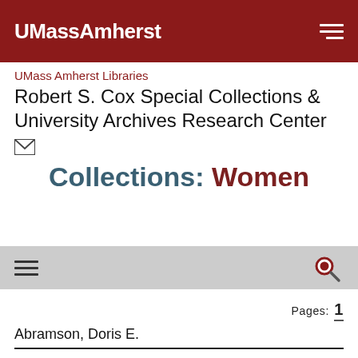UMassAmherst
UMass Amherst Libraries
Robert S. Cox Special Collections & University Archives Research Center
Collections: Women
Pages: 1
Abramson, Doris E.